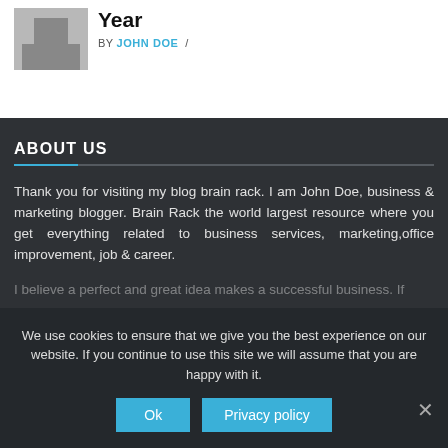[Figure (photo): Small avatar/thumbnail image placeholder with gray background]
Year
BY JOHN DOE /
ABOUT US
Thank you for visiting my blog brain rack. I am John Doe, business & marketing blogger. Brain Rack the world largest resource where you get everything related to business services, marketing,office improvement, job & career.
I believe a perfect and great idea makes a successful business. If
We use cookies to ensure that we give you the best experience on our website. If you continue to use this site we will assume that you are happy with it.